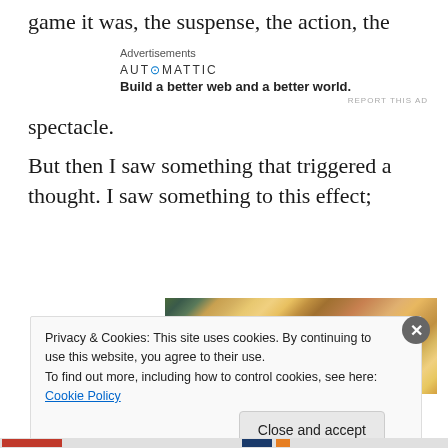game it was, the suspense, the action, the
Advertisements
[Figure (logo): Automattic logo with tagline: Build a better web and a better world.]
spectacle.
But then I saw something that triggered a thought. I saw something to this effect;
[Figure (photo): Crowd of spectators at a sports event, looking tense and emotional. One person in the foreground wears a green cap.]
Privacy & Cookies: This site uses cookies. By continuing to use this website, you agree to their use.
To find out more, including how to control cookies, see here: Cookie Policy